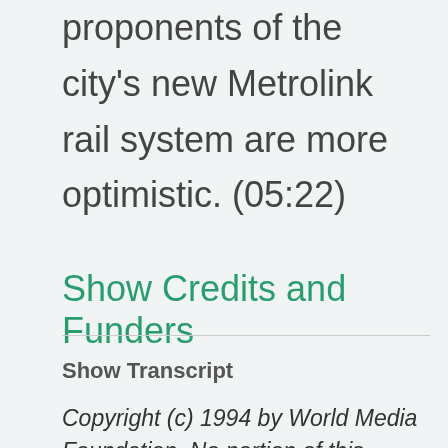proponents of the city's new Metrolink rail system are more optimistic. (05:22)
Show Credits and Funders
Show Transcript
Copyright (c) 1994 by World Media Foundation. No portion of this